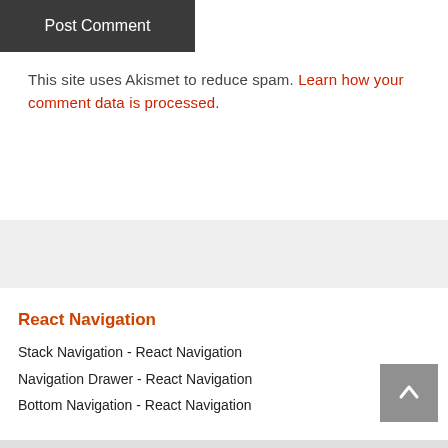Post Comment
This site uses Akismet to reduce spam. Learn how your comment data is processed.
React Navigation
Stack Navigation - React Navigation
Navigation Drawer - React Navigation
Bottom Navigation - React Navigation
Tab - React Navigation
Swipe Gestures not Working in Android
RN Android Fragment